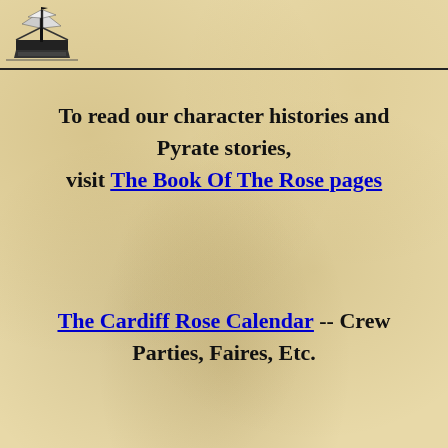[Figure (illustration): Black and white pixel-art style tall ship / sailing vessel logo in the top-left corner]
To read our character histories and Pyrate stories, visit The Book Of The Rose pages
The Cardiff Rose Calendar -- Crew Parties, Faires, Etc.